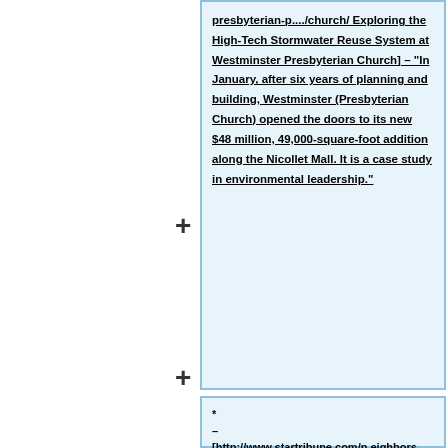+ [link: ...presbyterian-church/ Exploring the High-Tech Stormwater Reuse System at Westminster Presbyterian Church] – "In January, after six years of planning and building, Westminster (Presbyterian Church) opened the doors to its new &#36;48 million, 49,000-square-foot addition along the Nicollet Mall. It is a case study in environmental leadership."
+ * – [http://www.startribune.com/neighbors-trade-in-their-old-alley-for-one-that-s-new-and-permeable/483894871/ Neighbors trade in their old